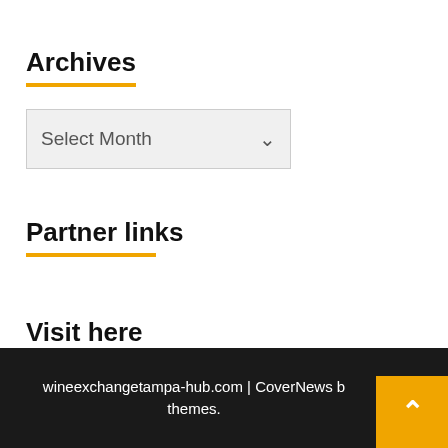Archives
[Figure (other): A dropdown select input with placeholder text 'Select Month' and a down-arrow chevron on a light gray background]
Partner links
Visit here
International law
wineexchangetampa-hub.com | CoverNews b themes.